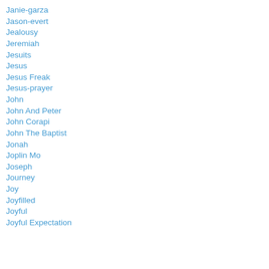Janie-garza
Jason-evert
Jealousy
Jeremiah
Jesuits
Jesus
Jesus Freak
Jesus-prayer
John
John And Peter
John Corapi
John The Baptist
Jonah
Joplin Mo
Joseph
Journey
Joy
Joyfilled
Joyful
Joyful Expectation